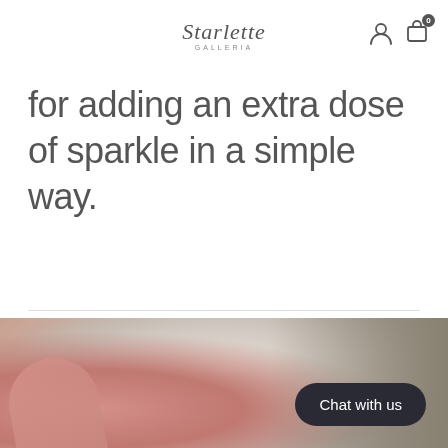Starlette GALLERIA
for adding an extra dose of sparkle in a simple way.
[Figure (photo): Close-up blurry photo of jewelry/ring being held, with sparkly background]
Chat with us